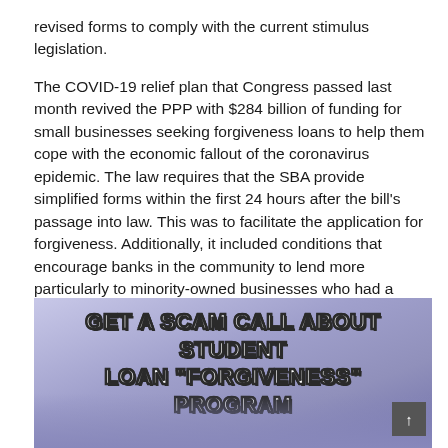revised forms to comply with the current stimulus legislation.
The COVID-19 relief plan that Congress passed last month revived the PPP with $284 billion of funding for small businesses seeking forgiveness loans to help them cope with the economic fallout of the coronavirus epidemic. The law requires that the SBA provide simplified forms within the first 24 hours after the bill’s passage into law. This was to facilitate the application for forgiveness. Additionally, it included conditions that encourage banks in the community to lend more particularly to minority-owned businesses who had a difficult time getting loans last year.
[Figure (photo): Meme image with text overlay reading 'GET A SCAM CALL ABOUT STUDENT LOAN "FORGIVENESS" PROGRAM' on a light purple/blue gradient background with a person partially visible at the bottom.]